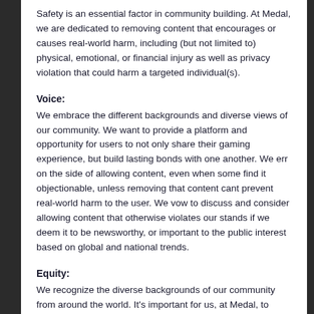Safety is an essential factor in community building. At Medal, we are dedicated to removing content that encourages or causes real-world harm, including (but not limited to) physical, emotional, or financial injury as well as privacy violation that could harm a targeted individual(s).
Voice:
We embrace the different backgrounds and diverse views of our community. We want to provide a platform and opportunity for users to not only share their gaming experience, but build lasting bonds with one another. We err on the side of allowing content, even when some find it objectionable, unless removing that content cant prevent real-world harm to the user. We vow to discuss and consider allowing content that otherwise violates our stands if we deem it to be newsworthy, or important to the public interest based on global and national trends.
Equity:
We recognize the diverse backgrounds of our community from around the world. It's important for us, at Medal, to keep our policies broad in order to apply them consistently and fairly based on an ever-adapting global culture. Because our community standards must transcend cultural, regional, and linguistic barriers, we recognize the need for a broad but consistent standard. Because of